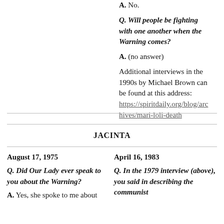A. No.
Q. Will people be fighting with one another when the Warning comes?
A. (no answer)
Additional interviews in the 1990s by Michael Brown can be found at this address: https://spiritdaily.org/blog/archives/mari-loli-death
JACINTA
August 17, 1975
April 16, 1983
Q. Did Our Lady ever speak to you about the Warning?
Q. In the 1979 interview (above), you said in describing the communist
A. Yes, she spoke to me about